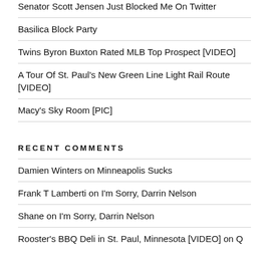Senator Scott Jensen Just Blocked Me On Twitter
Basilica Block Party
Twins Byron Buxton Rated MLB Top Prospect [VIDEO]
A Tour Of St. Paul's New Green Line Light Rail Route [VIDEO]
Macy's Sky Room [PIC]
RECENT COMMENTS
Damien Winters on Minneapolis Sucks
Frank T Lamberti on I'm Sorry, Darrin Nelson
Shane on I'm Sorry, Darrin Nelson
Rooster's BBQ Deli in St. Paul, Minnesota [VIDEO] on Q